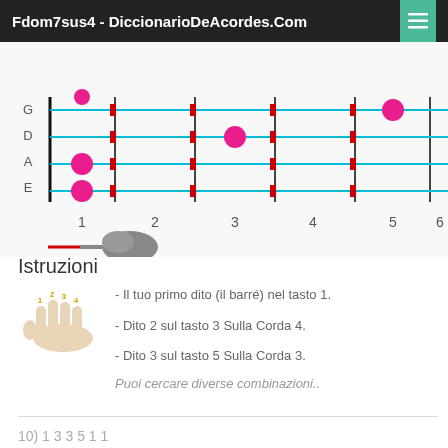Fdom7sus4 - DiccionarioDeAcordes.Com
[Figure (other): Guitar fretboard diagram showing Fdom7sus4 chord with pink dots on strings G, D, A, E at frets 1-6. Cyan horizontal lines represent strings. Pink dots mark finger positions. Fret numbers 1-6 shown below. Guitar silhouette icon with capo marker at fret 1.]
Istruzioni
[Figure (illustration): Hand illustration showing fingers numbered 1, 2, 3, 4]
- Il tuo primo dito (il barré) nel tasto 1.
- Dito 2 sul tasto 3 Sulla Corda 4.
- Dito 3 sul tasto 5 Sulla Corda 3.
Puoi cercare diverse combinazioni..
10) 1 3 3 5 1 1